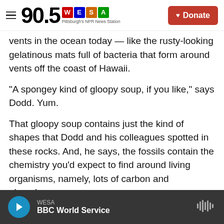90.5 WESA Pittsburgh's NPR News Station | Donate
vents in the ocean today — like the rusty-looking gelatinous mats full of bacteria that form around vents off the coast of Hawaii.
"A spongey kind of gloopy soup, if you like," says Dodd. Yum.
That gloopy soup contains just the kind of shapes that Dodd and his colleagues spotted in these rocks. And, he says, the fossils contain the chemistry you'd expect to find around living organisms, namely, lots of carbon and phosphorus.
WESA BBC World Service